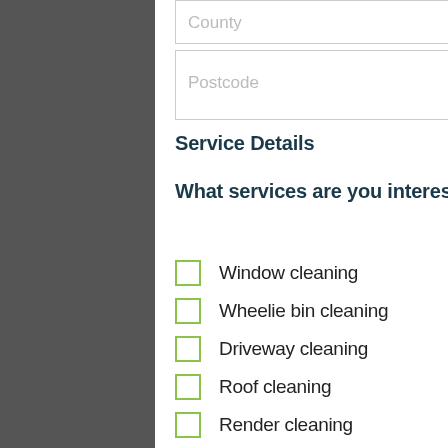County
Postcode
Service Details
What services are you interested in? (optional)
Window cleaning
Wheelie bin cleaning
Driveway cleaning
Roof cleaning
Render cleaning
Decking cleaning
Patio cleaning
Brick cleaning
Cladding cleaning